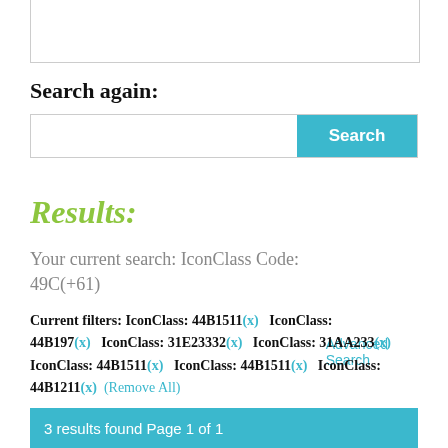Search again:
[Figure (other): Search input bar with cyan Search button]
Advanced Search
Results:
Your current search: IconClass Code: 49C(+61)
Current filters: IconClass: 44B1511(x)   IconClass: 44B197(x)   IconClass: 31E23332(x)   IconClass: 31AA233(x)   IconClass: 44B1511(x)   IconClass: 44B1511(x)   IconClass: 44B1211(x)   (Remove All)
3 results found Page 1 of 1